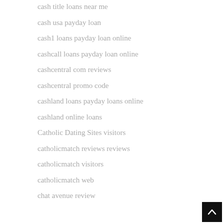cash title loans near me
cash usa payday loan
cash1 loans payday loan online
cashcall loans payday loan online
cashcentral com reviews
cashcentral promo code
cashland loans payday loans online
cashland online loans
Catholic Dating Sites visitors
catholicmatch reviews reviews
catholicmatch visitors
catholicmatch web
chat avenue review